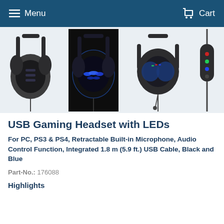Menu   Cart
[Figure (photo): Four product images of USB Gaming Headset with LEDs: side view of headset, headset with blue LED lights glowing in dark, front view of headset with microphone extended, and the audio control unit/dongle.]
USB Gaming Headset with LEDs
For PC, PS3 & PS4, Retractable Built-in Microphone, Audio Control Function, Integrated 1.8 m (5.9 ft.) USB Cable, Black and Blue
Part-No.: 176088
Highlights